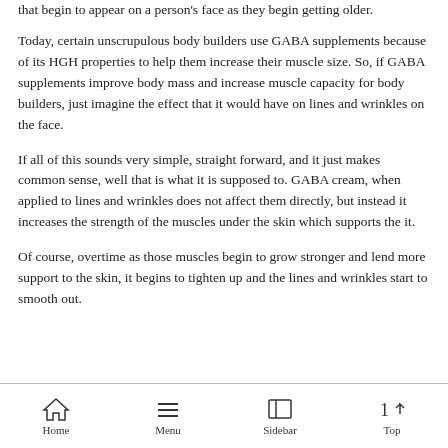that begin to appear on a person's face as they begin getting older.
Today, certain unscrupulous body builders use GABA supplements because of its HGH properties to help them increase their muscle size. So, if GABA supplements improve body mass and increase muscle capacity for body builders, just imagine the effect that it would have on lines and wrinkles on the face.
If all of this sounds very simple, straight forward, and it just makes common sense, well that is what it is supposed to. GABA cream, when applied to lines and wrinkles does not affect them directly, but instead it increases the strength of the muscles under the skin which supports the it.
Of course, overtime as those muscles begin to grow stronger and lend more support to the skin, it begins to tighten up and the lines and wrinkles start to smooth out.
Home  Menu  Sidebar  Top